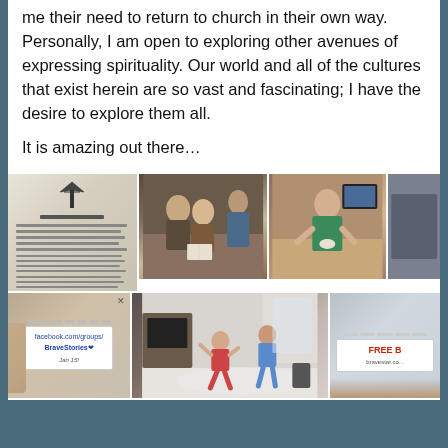me their need to return to church in their own way. Personally, I am open to exploring other avenues of expressing spirituality. Our world and all of the cultures that exist herein are so vast and fascinating; I have the desire to explore them all.

It is amazing out there…
[Figure (photo): A grid of 6 photos arranged in 2 rows of 3. Top row: a document with a church/ship logo and text, a group of young people reading/studying together, a boy doing a craft activity at a kitchen counter. Bottom row: a child holding a notebook sign reading 'facebook.com/groups/BraveStories Jan 15!', children playing/dancing in a living room, a person holding a sign partially visible reading 'FREE B...'.]